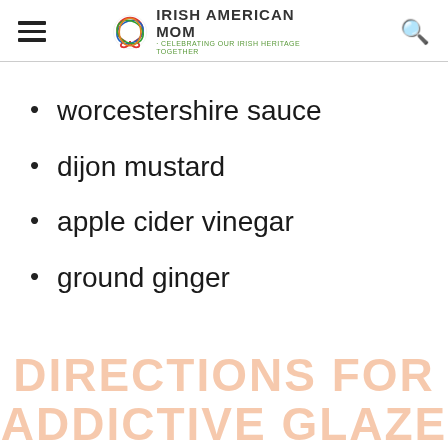Irish American Mom - Celebrating Our Irish Heritage Together
worcestershire sauce
dijon mustard
apple cider vinegar
ground ginger
DIRECTIONS FOR ADDICTIVE GLAZE